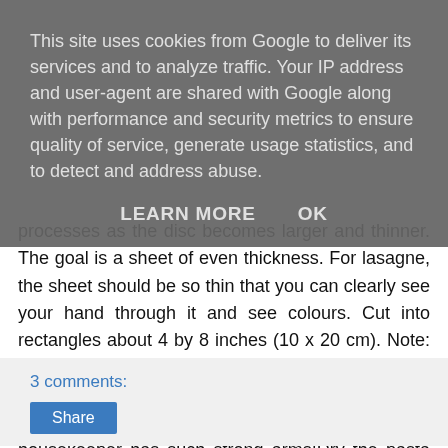This site uses cookies from Google to deliver its services and to analyze traffic. Your IP address and user-agent are shared with Google along with performance and security metrics to ensure quality of service, generate usage statistics, and to detect and address abuse.
LEARN MORE   OK
processes as the disc becomes larger and thinner. The goal is a sheet of even thickness. For lasagne, the sheet should be so thin that you can clearly see your hand through it and see colours. Cut into rectangles about 4 by 8 inches (10 x 20 cm). Note: Enza says that transparency is a crucial element of lasagne pasta and the dough should be rolled as thinly as possible. She says this is why her housekeeper has such strong arms!Dry the pasta at room temperature and store in a sealed container or bag.
3 comments:
Share